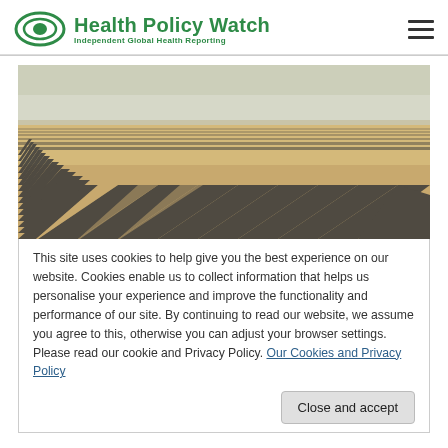Health Policy Watch — Independent Global Health Reporting
[Figure (photo): Aerial view of a large solar panel farm in a desert landscape, with rows of dark solar panels extending to the horizon under a hazy sky.]
This site uses cookies to help give you the best experience on our website. Cookies enable us to collect information that helps us personalise your experience and improve the functionality and performance of our site. By continuing to read our website, we assume you agree to this, otherwise you can adjust your browser settings. Please read our cookie and Privacy Policy. Our Cookies and Privacy Policy
Close and accept